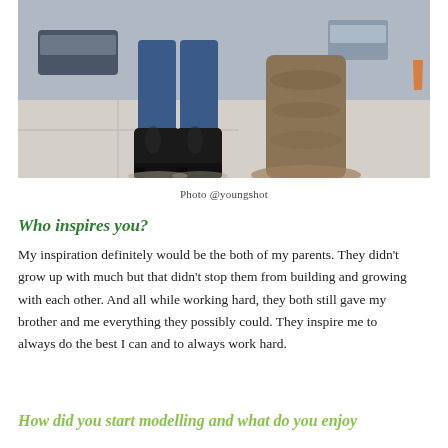[Figure (photo): Street-level photo showing a person's legs in jeans and black heeled boots standing on a sidewalk next to a large tree trunk. Cars and street scene visible in the background.]
Photo @youngshot
Who inspires you?
My inspiration definitely would be the both of my parents. They didn't grow up with much but that didn't stop them from building and growing with each other. And all while working hard, they both still gave my brother and me everything they possibly could. They inspire me to always do the best I can and to always work hard.
How did you start modelling and what do you enjoy about?